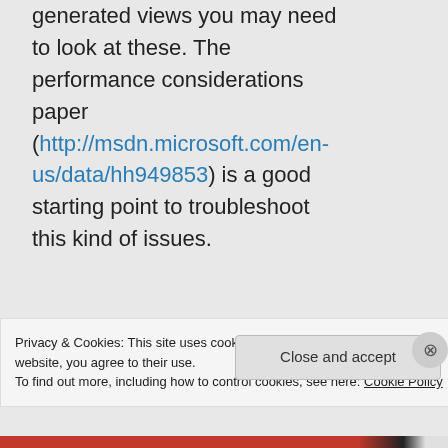generated views you may need to look at these. The performance considerations paper (http://msdn.microsoft.com/en-us/data/hh949853) is a good starting point to troubleshoot this kind of issues.
★ Like
Privacy & Cookies: This site uses cookies. By continuing to use this website, you agree to their use.
To find out more, including how to control cookies, see here: Cookie Policy
Close and accept